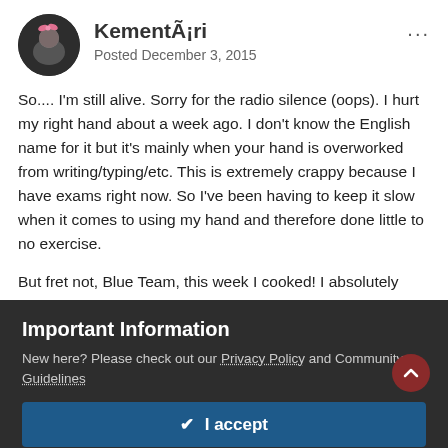KementÃ¡ri
Posted December 3, 2015
So.... I'm still alive. Sorry for the radio silence (oops). I hurt my right hand about a week ago. I don't know the English name for it but it's mainly when your hand is overworked from writing/typing/etc. This is extremely crappy because I have exams right now. So I've been having to keep it slow when it comes to using my hand and therefore done little to no exercise.
But fret not, Blue Team, this week I cooked! I absolutely love mushrooms and since I usually throw them in a pan with a bunch of other things I like, here's what I did this week.
Important Information
New here? Please check out our Privacy Policy and Community Guidelines
✔ I accept